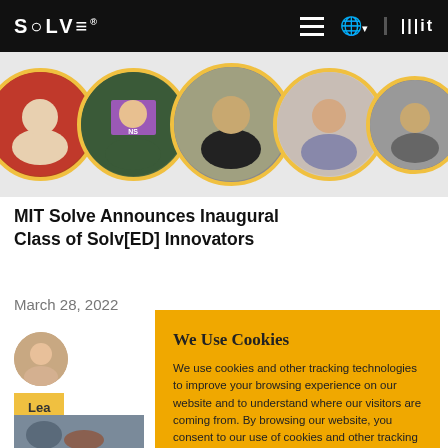SOLVE® [MIT logo]
[Figure (photo): A horizontal strip of five circular profile photos of people with gold/yellow borders]
MIT Solve Announces Inaugural Class of Solv[ED] Innovators
March 28, 2022
[Figure (photo): Small circular author avatar photo]
Lea
[Figure (photo): Partial bottom image of people]
We Use Cookies
We use cookies and other tracking technologies to improve your browsing experience on our website and to understand where our visitors are coming from. By browsing our website, you consent to our use of cookies and other tracking technologies.
ACCEPT   REJECT